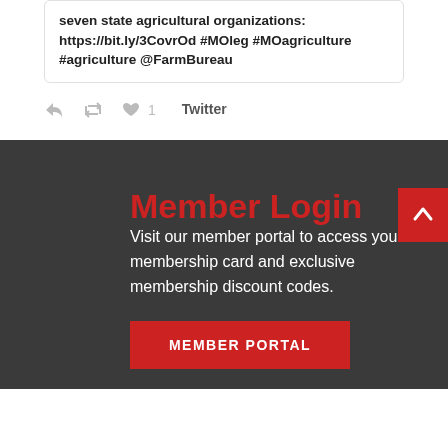seven state agricultural organizations: https://bit.ly/3CovrOd #MOleg #MOagriculture #agriculture @FarmBureau
Twitter
Member Login
Visit our member portal to access your membership card and exclusive membership discount codes.
MEMBER PORTAL